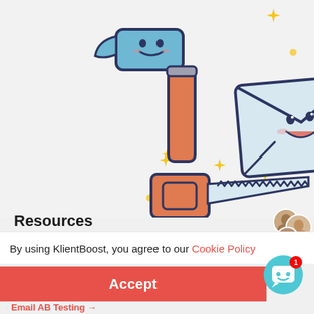[Figure (illustration): Cartoon illustration of marketing tools: a smiling hammer, a smiling envelope/email icon, a smiling saw, with yellow sparkle stars scattered around, on a light gray background]
KlientBoost
Hey there, we're seeing some marketing...
Resources
By using KlientBoost, you agree to our Cookie Policy
Accept
Email AB Testing →